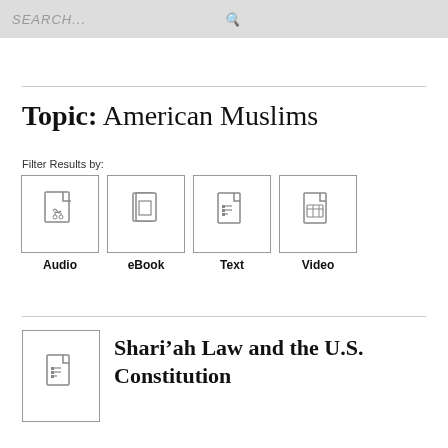SEARCH...
Topic: American Muslims
Filter Results by:
[Figure (infographic): Four filter icons: Audio (music note document), eBook (book document), Text (lined document), Video (film document)]
Shari’ah Law and the U.S. Constitution